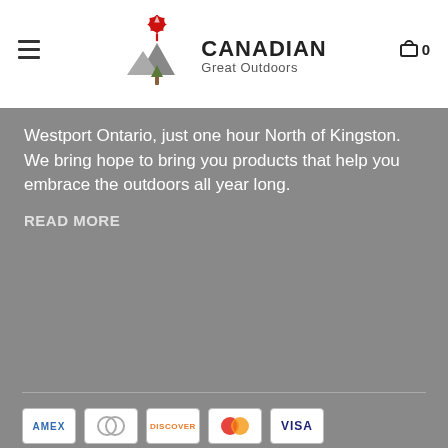[Figure (logo): Canadian Great Outdoors logo with maple leaf and mountain graphic, hamburger menu icon on left, shopping cart icon on right showing 0 items]
Westport Ontario, just one hour North of Kingston. We bring hope to bring you products that help you embrace the outdoors all year long.
READ MORE
[Figure (other): Row of payment method badges: AMEX, Diners Club, Discover, Mastercard, Visa]
[Figure (other): Row of social media icons: Facebook, Twitter, Pinterest, YouTube, Instagram]